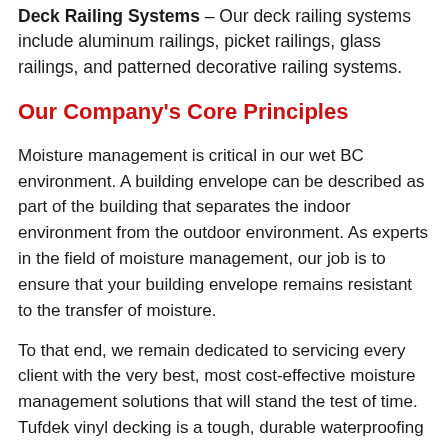Deck Railing Systems – Our deck railing systems include aluminum railings, picket railings, glass railings, and patterned decorative railing systems.
Our Company's Core Principles
Moisture management is critical in our wet BC environment. A building envelope can be described as part of the building that separates the indoor environment from the outdoor environment. As experts in the field of moisture management, our job is to ensure that your building envelope remains resistant to the transfer of moisture.
To that end, we remain dedicated to servicing every client with the very best, most cost-effective moisture management solutions that will stand the test of time. Tufdek vinyl decking is a tough, durable waterproofing